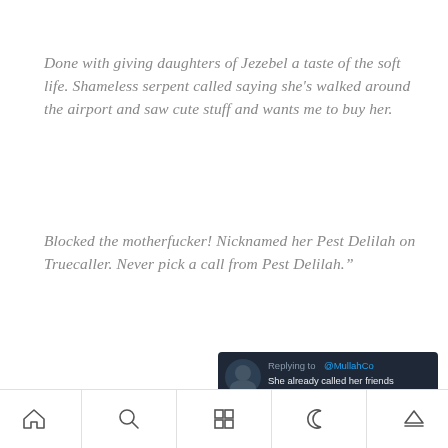Done with giving daughters of Jezebel a taste of the soft life. Shameless serpent called saying she's walked around the airport and saw cute stuff and wants me to buy her.
Blocked the motherfucker! Nicknamed her Pest Delilah on Truecaller. Never pick a call from Pest Delilah.”
[Figure (screenshot): Dark-themed tweet screenshot replying to @MullahCo. Text: 'She already called her friends telling them she will be back after a week. Moved up her return ticket to tomorrow 4PM. She leaves the hotel at 9AM for a 4PM flight.']
Navigation bar with home, search, grid, moon, and eject icons